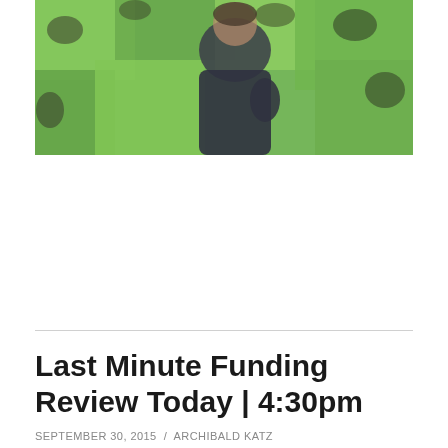[Figure (photo): A blurred photo of a person in a dark jacket in front of a green background with dark spots or foliage]
Last Minute Funding Review Today | 4:30pm
SEPTEMBER 30, 2015 / ARCHIBALD KATZ